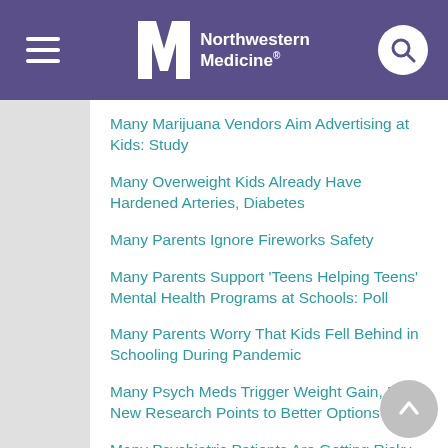[Figure (logo): Northwestern Medicine logo with purple header bar, hamburger menu icon on left, magnifying glass search icon on right]
Many Marijuana Vendors Aim Advertising at Kids: Study
Many Overweight Kids Already Have Hardened Arteries, Diabetes
Many Parents Ignore Fireworks Safety
Many Parents Support 'Teens Helping Teens' Mental Health Programs at Schools: Poll
Many Parents Worry That Kids Fell Behind in Schooling During Pandemic
Many Psych Meds Trigger Weight Gain, But New Research Points to Better Options
Many Psychiatric Patients Are Getting Risky Drug Gabapentin 'Off-Label'